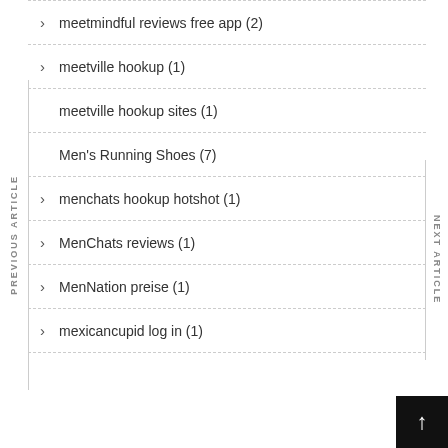meetmindful reviews free app (2)
meetville hookup (1)
meetville hookup sites (1)
Men's Running Shoes (7)
menchats hookup hotshot (1)
MenChats reviews (1)
MenNation preise (1)
mexicancupid log in (1)